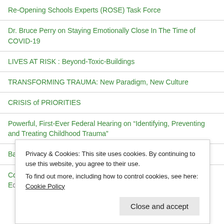Re-Opening Schools Experts (ROSE) Task Force
Dr. Bruce Perry on Staying Emotionally Close In The Time of COVID-19
LIVES AT RISK : Beyond-Toxic-Buildings
TRANSFORMING TRAUMA: New Paradigm, New Culture
CRISIS of PRIORITIES
Powerful, First-Ever Federal Hearing on “Identifying, Preventing and Treating Childhood Trauma”
Back-to-School Toolkit: Mental Health America
Court refuses to dismiss claim for Mental Health supports in Education
Privacy & Cookies: This site uses cookies. By continuing to use this website, you agree to their use.
To find out more, including how to control cookies, see here: Cookie Policy
Close and accept